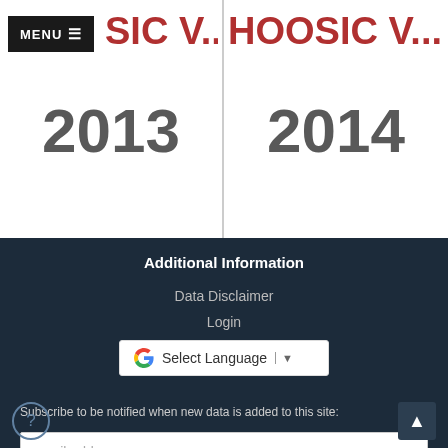[Figure (screenshot): Navigation menu button with MENU label and hamburger icon in black box, top left]
HOOSIC V... 2013
HOOSIC V... 2014
Additional Information
Data Disclaimer
Login
[Figure (other): Google Translate widget - Select Language dropdown]
Subscribe to be notified when new data is added to this site:
email address
SUBSCRIBE